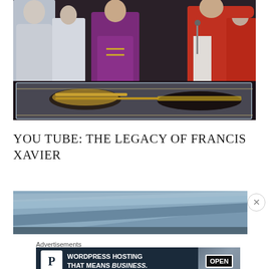[Figure (photo): Religious ceremony photo showing clergy in purple and red vestments standing around a glass reliquary or casket containing a body, at what appears to be a Catholic church event.]
YOU TUBE: THE LEGACY OF FRANCIS XAVIER
[Figure (screenshot): YouTube video embed thumbnail with blue-gray diagonal design]
Advertisements
[Figure (other): Advertisement banner: WordPress Hosting that means BUSINESS. with P icon and OPEN sign image. Dark navy background.]